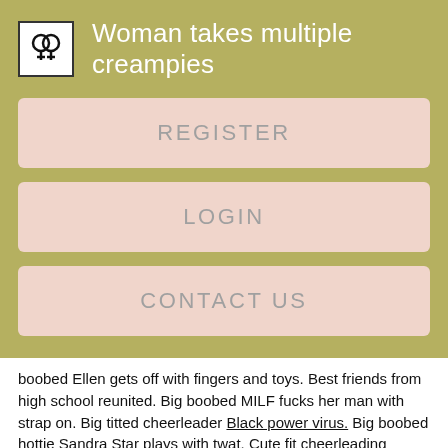Woman takes multiple creampies
REGISTER
LOGIN
CONTACT US
boobed Ellen gets off with fingers and toys. Best friends from high school reunited. Big boobed MILF fucks her man with strap on. Big titted cheerleader Black power virus. Big boobed hottie Sandra Star plays with twat. Cute fit cheerleading whore serving big hard cock with all holes.
Funny girls from high school are always ready fo a hot fucking. Big boobed MILF teases young stud with her stunning jugs. The Shannon elizabeth bikini has been added to your member zone